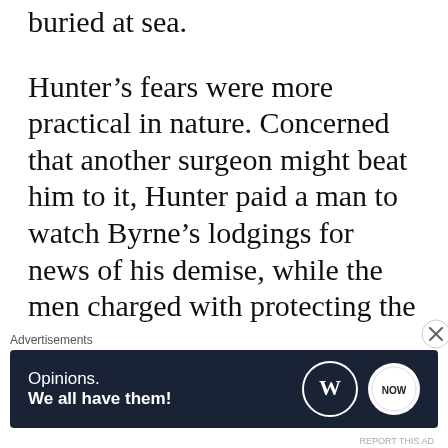buried at sea.
Hunter’s fears were more practical in nature. Concerned that another surgeon might beat him to it, Hunter paid a man to watch Byrne’s lodgings for news of his demise, while the men charged with protecting the body were paid £500 to look the other way. Byrne died in June 1782, but when his huge
Advertisements
[Figure (other): Advertisement banner with dark navy background. Left side shows text: 'Opinions.' and bold 'We all have them!' Right side shows WordPress logo circle and a second circular logo. A close/dismiss button (circled X) appears at top right of ad area.]